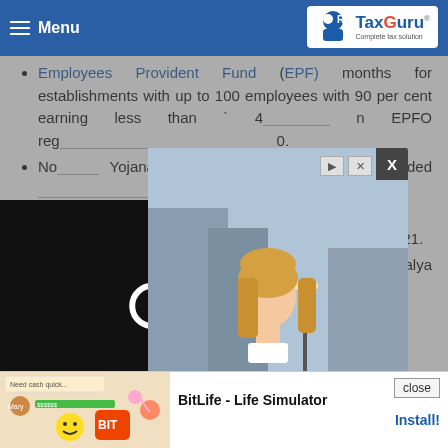Menu | TaxGuru - Complete tax solution
Employees Provident Fund (EPF): months for establishments with up to 100 employees with 90 per cent earning less than ₹15,000, registered with EPFO.
National _____ Yojana provided _____ 2.15 lakh
(PMAY-) completed ___d up to December 2021.
Deen Dayal Upadhyaya Grameen Kaushalya _____ Self ___) –
[Figure (screenshot): Advertisement modal showing a woman on a scooter]
[Figure (screenshot): Video player overlay with loading spinner, dark background]
[Figure (screenshot): Bottom banner ad for BitLife - Life Simulator with Install button]